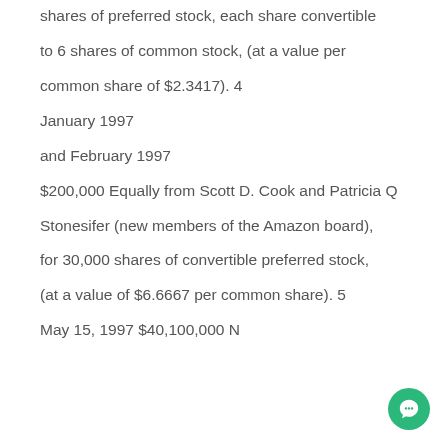shares of preferred stock, each share convertible
to 6 shares of common stock, (at a value per
common share of $2.3417). 4
January 1997
and February 1997
$200,000 Equally from Scott D. Cook and Patricia Q
Stonesifer (new members of the Amazon board),
for 30,000 shares of convertible preferred stock,
(at a value of $6.6667 per common share). 5
May 15, 1997 $40,100,000 Note...